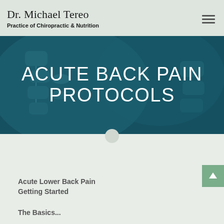Dr. Michael Tereo
Practice of Chiropractic & Nutrition
[Figure (photo): Hero banner with teal/blue spine X-ray background image displaying the text ACUTE BACK PAIN PROTOCOLS in large white sans-serif letters]
ACUTE BACK PAIN PROTOCOLS
Acute Lower Back Pain Getting Started
The Basics...